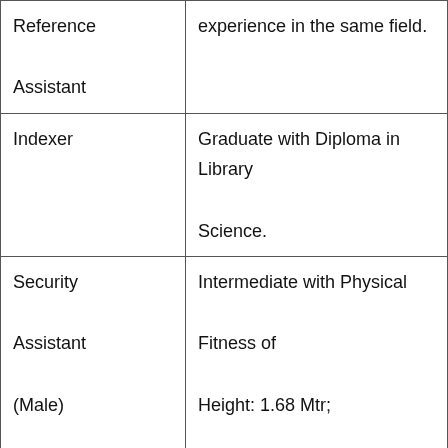| Reference Assistant | experience in the same field. |
| Indexer | Graduate with Diploma in Library Science. |
| Security Assistant (Male) | Intermediate with Physical Fitness of
Height: 1.68 Mtr;
Weight: 59 kg and
Chest : 86 – 91 Cm |
| Security | Intermediate with Physical Fitness of |